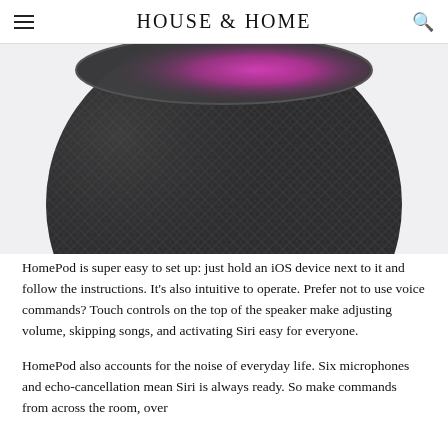HOUSE & HOME
[Figure (photo): Top-down view of Apple HomePod smart speaker in space grey, showing the mesh fabric texture and touch-sensitive top with a pink/magenta glow, photographed against a light grey background.]
HomePod is super easy to set up: just hold an iOS device next to it and follow the instructions. It's also intuitive to operate. Prefer not to use voice commands? Touch controls on the top of the speaker make adjusting volume, skipping songs, and activating Siri easy for everyone.
HomePod also accounts for the noise of everyday life. Six microphones and echo-cancellation mean Siri is always ready. So make commands from across the room, over